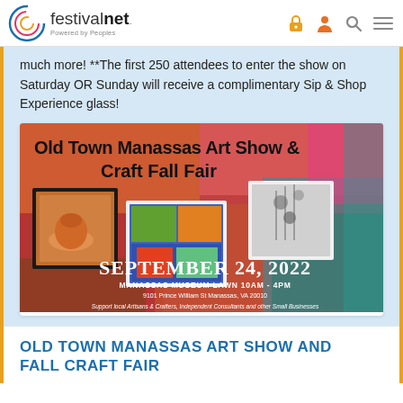festivalnet. Powered by Peoples
much more! **The first 250 attendees to enter the show on Saturday OR Sunday will receive a complimentary Sip & Shop Experience glass!
[Figure (photo): Old Town Manassas Art Show & Craft Fall Fair event flyer. Shows colorful artwork background with photos of crafts, pottery, jewelry. Text reads: Old Town Manassas Art Show & Craft Fall Fair, SEPTEMBER 24, 2022, MANASSAS MUSEUM LAWN 10AM - 4PM, 9101 Prince William St Manassas, VA 20010, Support Local Artisans & Crafters, Independent Consultants and other Small Businesses]
OLD TOWN MANASSAS ART SHOW AND FALL CRAFT FAIR